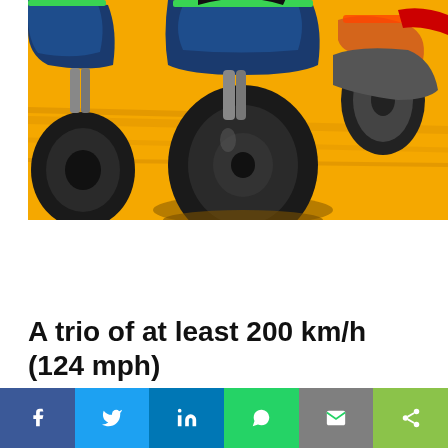[Figure (illustration): Stylized illustration of three motorcycles racing, viewed from behind at low angle. Pop-art style with orange background, blue and dark tones on the bikes. Large rear wheels prominent in foreground.]
A trio of at least 200 km/h (124 mph)
From the start to the fourth bend of the Red Bull Ring, the braking
[Figure (infographic): Social share bar with six buttons: Facebook (blue), Twitter (light blue), LinkedIn (dark blue), WhatsApp (green), Email (grey), Share (light green)]